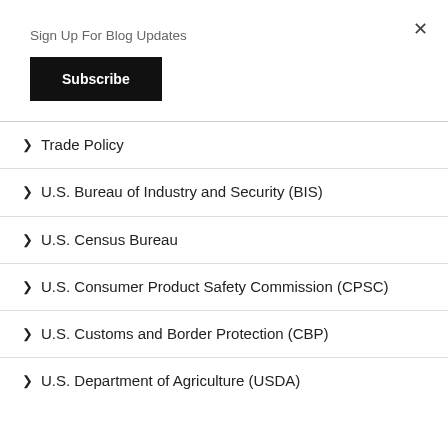Sign Up For Blog Updates
Subscribe
Trade Policy
U.S. Bureau of Industry and Security (BIS)
U.S. Census Bureau
U.S. Consumer Product Safety Commission (CPSC)
U.S. Customs and Border Protection (CBP)
U.S. Department of Agriculture (USDA)